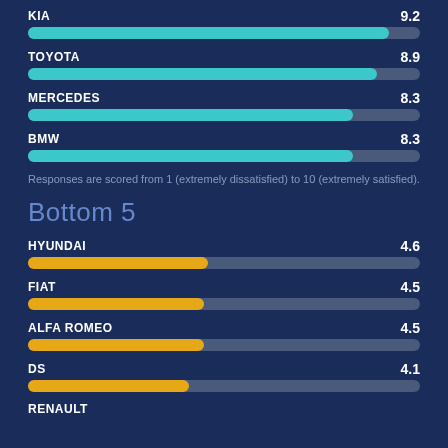[Figure (bar-chart): Top 5 and Bottom 5 car brand satisfaction scores]
Responses are scored from 1 (extremely dissatisfied) to 10 (extremely satisfied).
Bottom 5